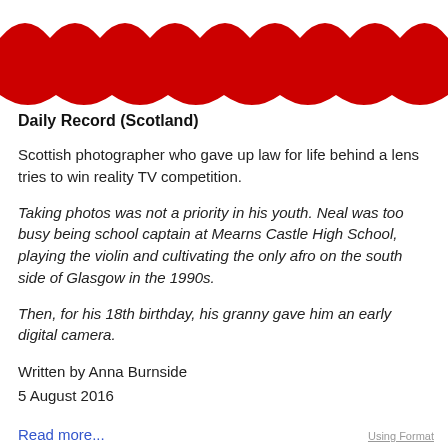[Figure (illustration): Red banner header with white zigzag/scalloped bottom edge pattern]
Daily Record (Scotland)
Scottish photographer who gave up law for life behind a lens tries to win reality TV competition.
Taking photos was not a priority in his youth. Neal was too busy being school captain at Mearns Castle High School, playing the violin and cultivating the only afro on the south side of Glasgow in the 1990s.
Then, for his 18th birthday, his granny gave him an early digital camera.
Written by Anna Burnside
5 August 2016
Read more...
Using Format